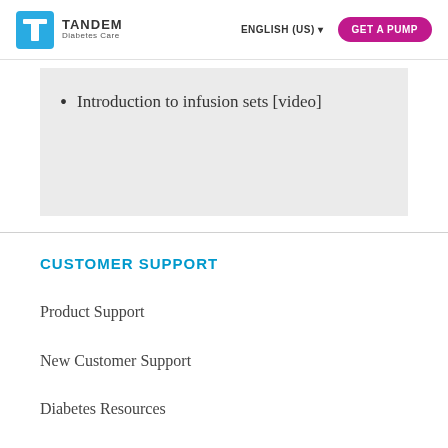TANDEM Diabetes Care | ENGLISH (US) | GET A PUMP
Introduction to infusion sets [video]
CUSTOMER SUPPORT
Product Support
New Customer Support
Diabetes Resources